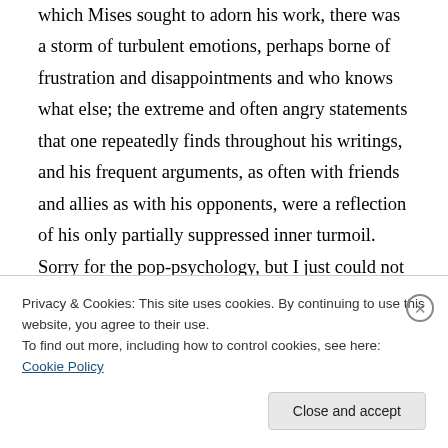which Mises sought to adorn his work, there was a storm of turbulent emotions, perhaps borne of frustration and disappointments and who knows what else; the extreme and often angry statements that one repeatedly finds throughout his writings, and his frequent arguments, as often with friends and allies as with his opponents, were a reflection of his only partially suppressed inner turmoil. Sorry for the pop-psychology, but I just could not control myself.
I.K. Thanks for the compliment and for the very
Privacy & Cookies: This site uses cookies. By continuing to use this website, you agree to their use.
To find out more, including how to control cookies, see here: Cookie Policy